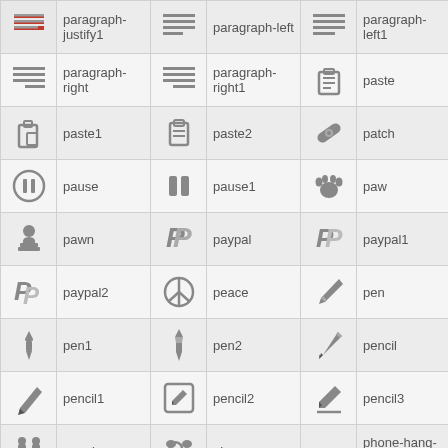| [icon] | paragraph-justify1 | [icon] | paragraph-left | [icon] | paragraph-left1 |
| [icon] | paragraph-right | [icon] | paragraph-right1 | [icon] | paste |
| [icon] | paste1 | [icon] | paste2 | [icon] | patch |
| [icon] | pause | [icon] | pause1 | [icon] | paw |
| [icon] | pawn | [icon] | paypal | [icon] | paypal1 |
| [icon] | paypal2 | [icon] | peace | [icon] | pen |
| [icon] | pen1 | [icon] | pen2 | [icon] | pencil |
| [icon] | pencil1 | [icon] | pencil2 | [icon] | pencil3 |
| [icon] | people | [icon] | phone | [icon] | phone-hang-up |